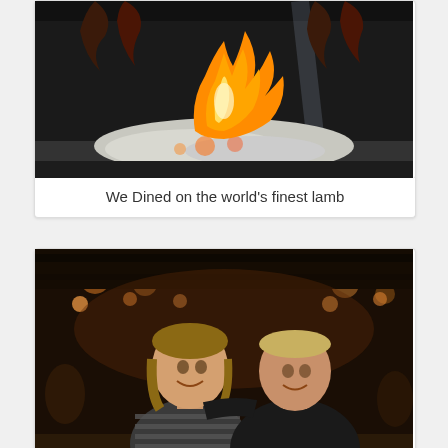[Figure (photo): Photo of a fire/grill with meat roasting over open flames and glowing embers, shot from above with glass panels visible]
We Dined on the world's finest lamb
[Figure (photo): Photo of two people smiling at a restaurant table with food and drinks, warm ambient lighting in the background]
In great company
[Figure (photo): Partially visible photo at the bottom of the page showing trees or outdoor scenery]